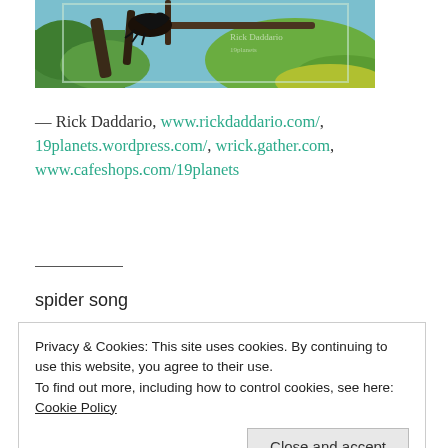[Figure (photo): Partial photo of a bird or lizard on a branch with green and blue foliage background, cropped at top]
— Rick Daddario, www.rickdaddario.com/, 19planets.wordpress.com/, wrick.gather.com, www.cafeshops.com/19planets
spider song
Privacy & Cookies: This site uses cookies. By continuing to use this website, you agree to their use.
To find out more, including how to control cookies, see here: Cookie Policy
Close and accept